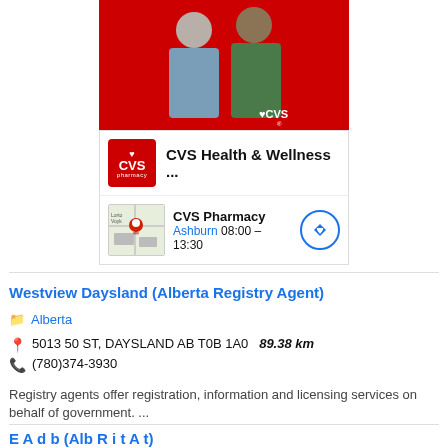[Figure (screenshot): CVS Health & Wellness advertisement block showing two women on red background, CVS Pharmacy logo icon, title 'CVS Health & Wellness ...', map thumbnail with location marker, pharmacy name 'CVS Pharmacy', location 'Ashburn 08:00 - 13:30', and navigation button]
Westview Daysland (Alberta Registry Agent)
Alberta
5013 50 ST, DAYSLAND AB T0B 1A0   89.38 km
(780)374-3930
Registry agents offer registration, information and licensing services on behalf of government. ...
E A d b (Alb R i t A t)